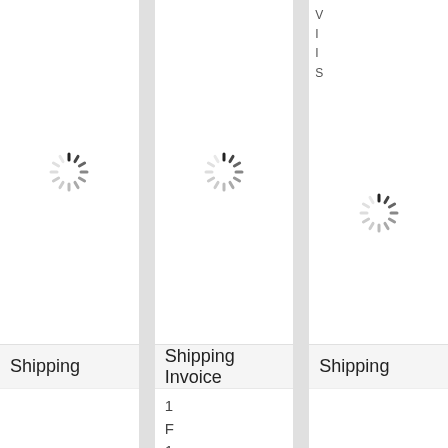[Figure (screenshot): Loading spinner icon (circular dashes) in card 1]
[Figure (screenshot): Loading spinner icon (circular dashes) in card 2]
[Figure (screenshot): Loading spinner icon (circular dashes) in card 3 (partially visible, top area also shows partial text lines)]
Shipping
Shipping Invoice
Shipping
1
F
1